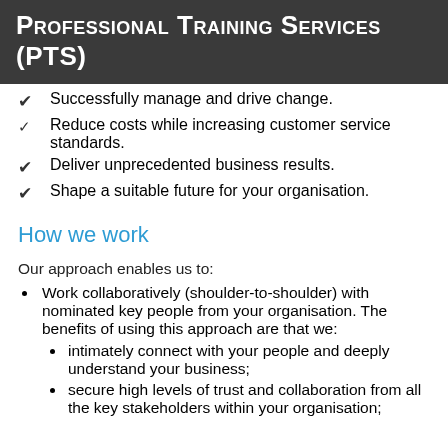Professional Training Services (PTS)
Successfully manage and drive change.
Reduce costs while increasing customer service standards.
Deliver unprecedented business results.
Shape a suitable future for your organisation.
How we work
Our approach enables us to:
Work collaboratively (shoulder-to-shoulder) with nominated key people from your organisation. The benefits of using this approach are that we:
intimately connect with your people and deeply understand your business;
secure high levels of trust and collaboration from all the key stakeholders within your organisation;